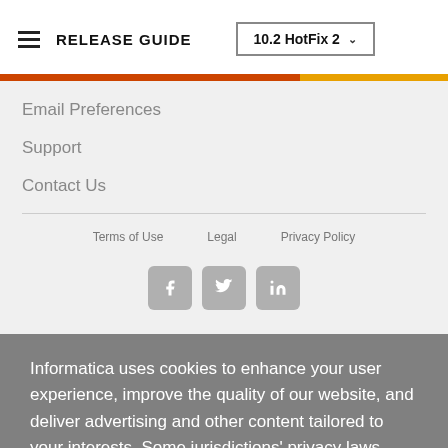RELEASE GUIDE  10.2 HotFix 2
Email Preferences
Support
Contact Us
Terms of Use   Legal   Privacy Policy
[Figure (illustration): Social media icons: Facebook, Twitter, LinkedIn]
Informatica uses cookies to enhance your user experience, improve the quality of our website, and deliver advertising and other content tailored to your interests. Some jurisdictions' privacy laws offer their